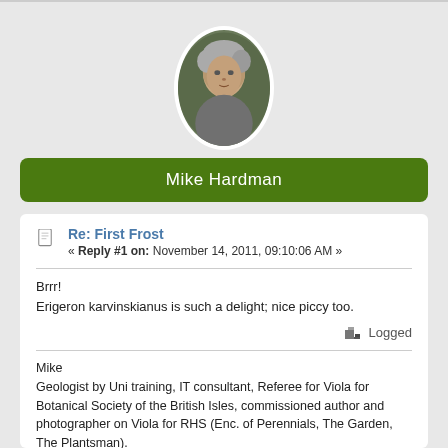[Figure (photo): Oval profile photo of Mike Hardman, a man with grey hair, set against a dark green background with white oval border]
Mike Hardman
[Figure (illustration): Small document/page icon]
Re: First Frost
« Reply #1 on: November 14, 2011, 09:10:06 AM »
Brrr!
Erigeron karvinskianus is such a delight; nice piccy too.
Logged
Mike
Geologist by Uni training, IT consultant, Referee for Viola for Botanical Society of the British Isles, commissioned author and photographer on Viola for RHS (Enc. of Perennials, The Garden, The Plantsman).
I run the Bolica forum, 100+ cultivars and lots of...